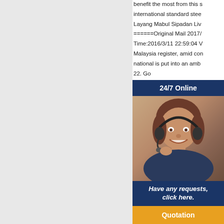benefit the most from this s international standard stee Layang Mabul Sipadan Liv ======Original Mail 2017/ Time:2016/3/11 22:59:04 V Malaysia register, amid con national is put into an amb 22. Go... highly p... Pangko...
ifm Ca 1url1Se Snapsh not use
Morpho Ismael at 1url1 Development A number o
limited availability of 1url1i
You tried to restrict mental
[Figure (infographic): Chat widget overlay showing '24/7 Online' header in dark navy blue, photo of smiling woman with headset, 'Have any requests, click here.' text in italic white on navy background, and orange 'Quotation' button]